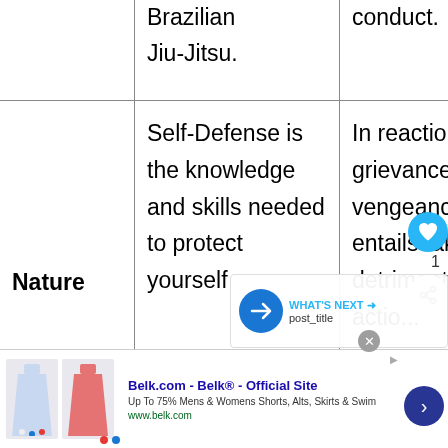|  | Self-Defense | Vengeance |
| --- | --- | --- |
|  | Brazilian Jiu-Jitsu. | conduct. |
| Nature | Self-Defense is the knowledge and skills needed to protect yourself | In reaction to a grievance, vengeance entails taking detrimental actio... |